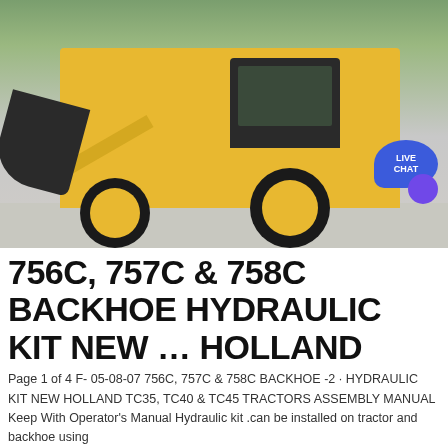[Figure (photo): Yellow backhoe/tractor-loader machine parked on a concrete surface with trees in background. A 'LIVE CHAT' bubble appears in the upper right corner of the image.]
756C, 757C & 758C BACKHOE HYDRAULIC KIT NEW … HOLLAND
Page 1 of 4 F- 05-08-07 756C, 757C & 758C BACKHOE -2 · HYDRAULIC KIT NEW HOLLAND TC35, TC40 & TC45 TRACTORS ASSEMBLY MANUAL Keep With Operator's Manual Hydraulic kit .can be installed on tractor and backhoe using
« Send message